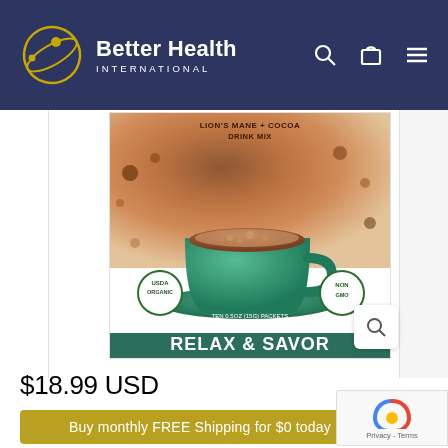Better Health International
[Figure (photo): Product image of Lion's Mane + Cocoa Drink Mix with a cup of cocoa drink. Label reads: LION'S MANE + COCOA DRINK MIX, RELAX & SAVOR, TEN 0.5OZ (15G) PACKETS NET WT. 5OZ (150G), USDA ORGANIC, NON GMO]
$18.99 USD
Buy monthly FREE Shipping for $0 today